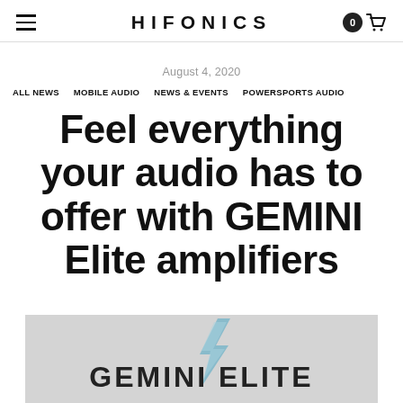HIFONICS
August 4, 2020
ALL NEWS   MOBILE AUDIO   NEWS & EVENTS   POWERSPORTS AUDIO
Feel everything your audio has to offer with GEMINI Elite amplifiers
[Figure (logo): Gemini Elite product image with logo text on grey background with lightning bolt graphic]